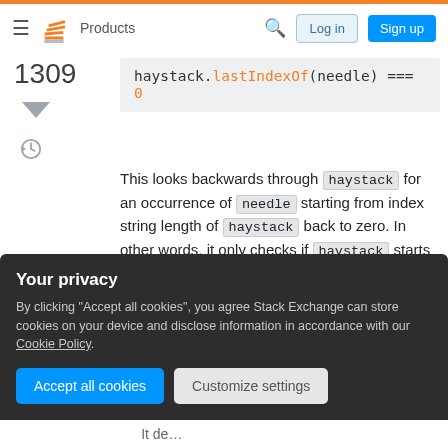≡ [Stack Overflow logo] Products 🔍 Log in Sign up
1309
[Figure (screenshot): Code snippet: haystack.lastIndexOf(needle) === 0]
This looks backwards through haystack for an occurrence of needle starting from index string length of haystack back to zero. In other words, it only checks if haystack starts with needle. lastIndexOf provides a second optional parameter 'fromIndex'. If given, the backwards search starts at this given index position and traverses back to index zero. But we must not
Your privacy
By clicking "Accept all cookies", you agree Stack Exchange can store cookies on your device and disclose information in accordance with our Cookie Policy.
Accept all cookies   Customize settings
It de... [partial text cut off]